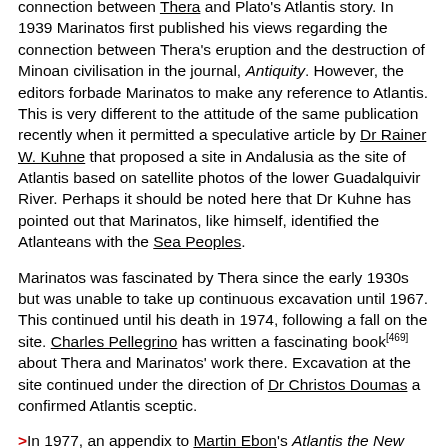connection between Thera and Plato's Atlantis story. In 1939 Marinatos first published his views regarding the connection between Thera's eruption and the destruction of Minoan civilisation in the journal, Antiquity. However, the editors forbade Marinatos to make any reference to Atlantis. This is very different to the attitude of the same publication recently when it permitted a speculative article by Dr Rainer W. Kuhne that proposed a site in Andalusia as the site of Atlantis based on satellite photos of the lower Guadalquivir River. Perhaps it should be noted here that Dr Kuhne has pointed out that Marinatos, like himself, identified the Atlanteans with the Sea Peoples.
Marinatos was fascinated by Thera since the early 1930s but was unable to take up continuous excavation until 1967. This continued until his death in 1974, following a fall on the site. Charles Pellegrino has written a fascinating book[469] about Thera and Marinatos' work there. Excavation at the site continued under the direction of Dr Christos Doumas a confirmed Atlantis sceptic.
>In 1977, an appendix to Martin Ebon's Atlantis the New Evidence [286] has a paper by Marinatos entitled On the Legend of Atlantis, which has been translated from the